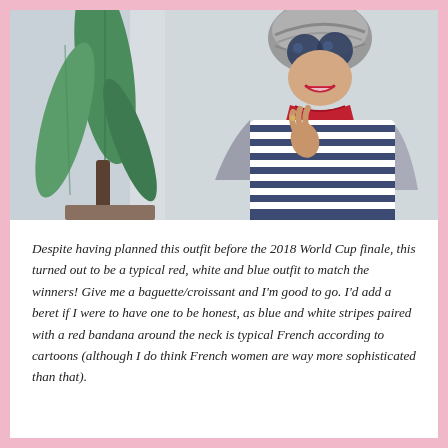[Figure (photo): A woman wearing large round sunglasses, a grey head wrap, a red bandana around her neck, a blue and white striped top, and a grey cardigan. She is smiling and posing next to a large green tropical plant with broad leaves, against a light grey/white background.]
Despite having planned this outfit before the 2018 World Cup finale, this turned out to be a typical red, white and blue outfit to match the winners! Give me a baguette/croissant and I'm good to go. I'd add a beret if I were to have one to be honest, as blue and white stripes paired with a red bandana around the neck is typical French according to cartoons (although I do think French women are way more sophisticated than that).